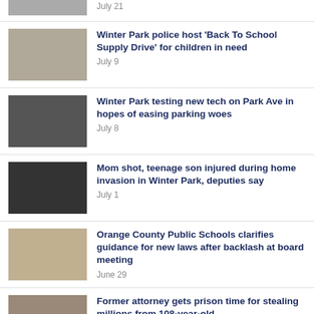July 21
Winter Park police host 'Back To School Supply Drive' for children in need
July 9
Winter Park testing new tech on Park Ave in hopes of easing parking woes
July 8
Mom shot, teenage son injured during home invasion in Winter Park, deputies say
July 1
Orange County Public Schools clarifies guidance for new laws after backlash at board meeting
June 29
Former attorney gets prison time for stealing millions from 108-year-old